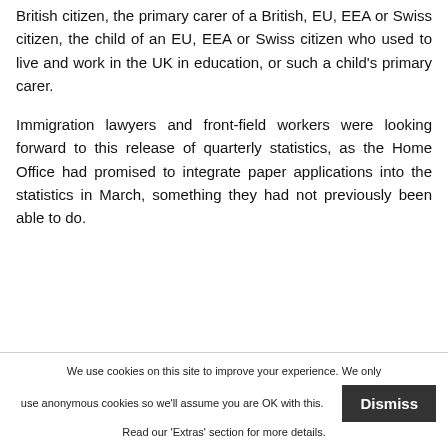British citizen, the primary carer of a British, EU, EEA or Swiss citizen, the child of an EU, EEA or Swiss citizen who used to live and work in the UK in education, or such a child's primary carer.
Immigration lawyers and front-field workers were looking forward to this release of quarterly statistics, as the Home Office had promised to integrate paper applications into the statistics in March, something they had not previously been able to do.
We use cookies on this site to improve your experience. We only use anonymous cookies so we'll assume you are OK with this. Read our 'Extras' section for more details.